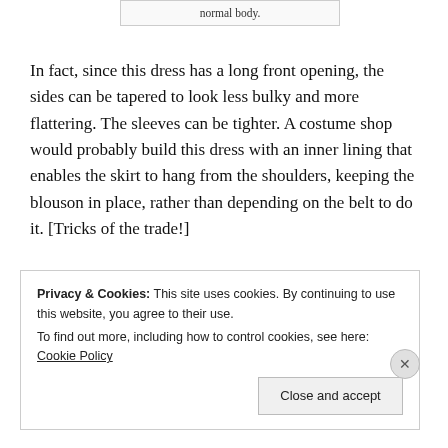normal body.
In fact, since this dress has a long front opening, the sides can be tapered to look less bulky and more flattering. The sleeves can be tighter. A costume shop would probably build this dress with an inner lining that enables the skirt to hang from the shoulders, keeping the blouson in place, rather than depending on the belt to do it. [Tricks of the trade!]
Privacy & Cookies: This site uses cookies. By continuing to use this website, you agree to their use. To find out more, including how to control cookies, see here: Cookie Policy
Close and accept